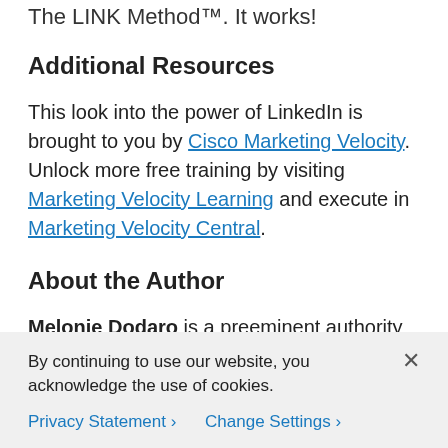The LINK Method™. It works!
Additional Resources
This look into the power of LinkedIn is brought to you by Cisco Marketing Velocity. Unlock more free training by visiting Marketing Velocity Learning and execute in Marketing Velocity Central.
About the Author
Melonie Dodaro is a preeminent authority on social selling on LinkedIn and the author of the #1 bestselling book LinkedIn Unlocked. She is also
By continuing to use our website, you acknowledge the use of cookies.
Privacy Statement >   Change Settings >